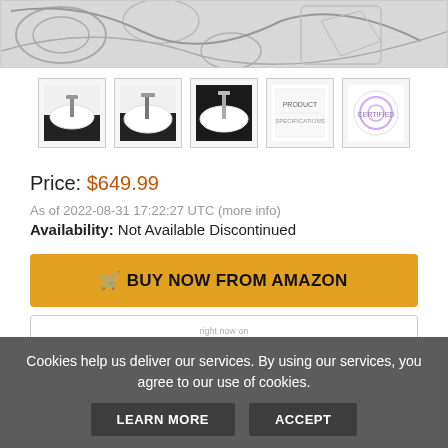[Figure (photo): Main product image strip showing decorative tile/fabric pattern in gray tones]
[Figure (photo): Row of 5 thumbnail product images showing white oval/vessel sink from various angles and packaging]
Price: $649.99
As of 2022-08-31 17:22:27 UTC (more info)
Availability: Not Available Discontinued
🛒 BUY NOW FROM AMAZON
right now on ebay VIEW EBAY OPTIONS
Cookies help us deliver our services. By using our services, you agree to our use of cookies.